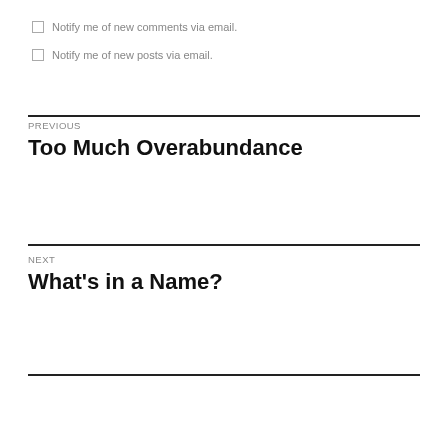Notify me of new comments via email.
Notify me of new posts via email.
PREVIOUS
Too Much Overabundance
NEXT
What's in a Name?